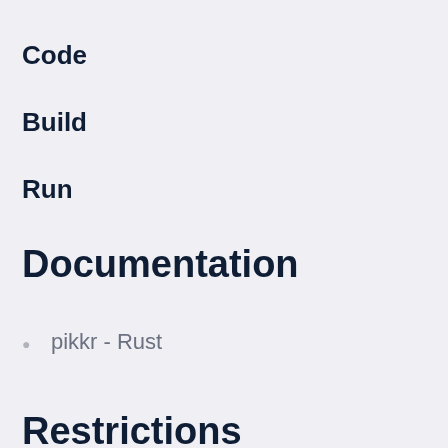Code
Build
Run
Documentation
pikkr - Rust
Restrictions
Rust nightly channel and CPUs with AVX2 are